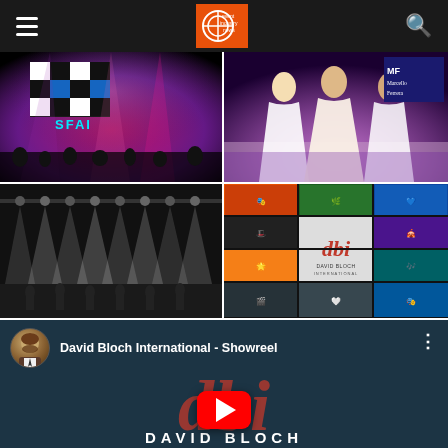Event Industry News
[Figure (photo): Concert stage with purple and red lighting, SFAI logo on screen, large audience]
[Figure (photo): Fashion show with performers in white gowns on stage, MF Marcello Ferrera branding on screen]
[Figure (photo): Black and white photo of stage with dramatic overhead lighting beams and dancer silhouettes]
[Figure (photo): David Bloch International (dbi) photo collage grid with multiple event performance images]
[Figure (screenshot): YouTube video thumbnail for David Bloch International Showreel with dbi logo, play button and text DAVID BLOCH]